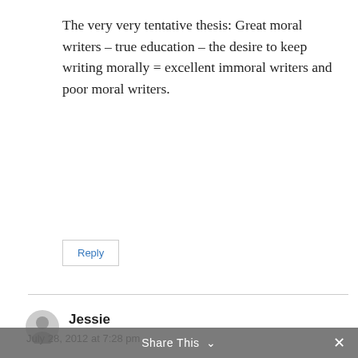The very very tentative thesis: Great moral writers – true education – the desire to keep writing morally = excellent immoral writers and poor moral writers.
Reply
Jessie
July 28, 2012 at 7:28 pm
i think culture feeds on entertainment & consequently vice versa because so many have abdicated the responsibility of teaching morality. we go to church at the theatre/theater, we are schooled by reality tv
Share This